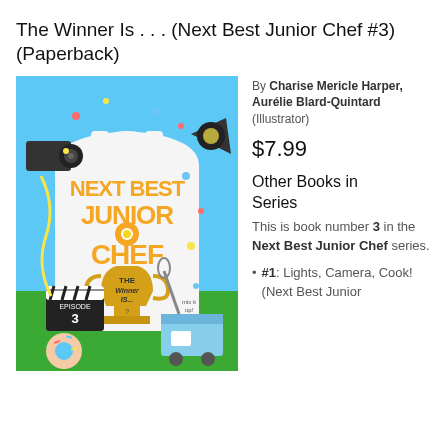The Winner Is . . . (Next Best Junior Chef #3) (Paperback)
[Figure (illustration): Book cover for 'Next Best Junior Chef: The Winner Is...' showing a colorful illustrated cover with a chef's apron, large trophy, movie clapperboard labeled EPISODE 3, a food truck, donuts, confetti, camera, and text 'NEXT BEST JUNIOR CHEF' in orange letters and 'The Winner Is...' on the trophy.]
By Charise Mericle Harper, Aurélie Blard-Quintard (Illustrator)
$7.99
Other Books in Series
This is book number 3 in the Next Best Junior Chef series.
#1: Lights, Camera, Cook! (Next Best Junior